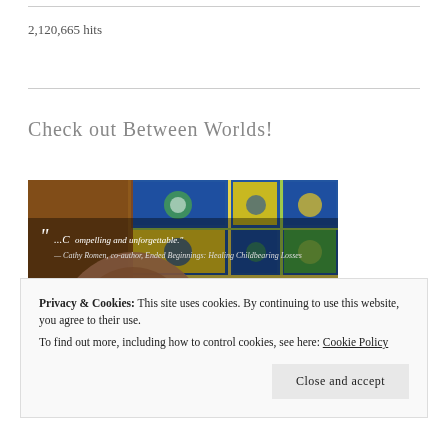2,120,665 hits
Check out Between Worlds!
[Figure (photo): Book cover image for 'Between Worlds' showing colorful Islamic tilework in blue, green, gold, and white with an arch. Text overlay reads: "...Compelling and unforgettable." — Cathy Romen, co-author, Ended Beginnings: Healing Childbearing Losses]
Privacy & Cookies: This site uses cookies. By continuing to use this website, you agree to their use.
To find out more, including how to control cookies, see here: Cookie Policy
Close and accept